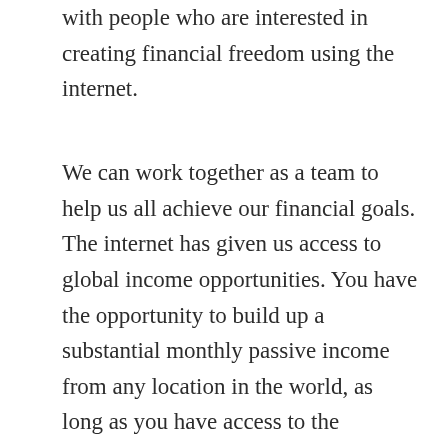with people who are interested in creating financial freedom using the internet.
We can work together as a team to help us all achieve our financial goals. The internet has given us access to global income opportunities. You have the opportunity to build up a substantial monthly passive income from any location in the world, as long as you have access to the internet.
Traditional bricks and mortar business opportunities can cost you anything from $100,000 to over $3,000,000.